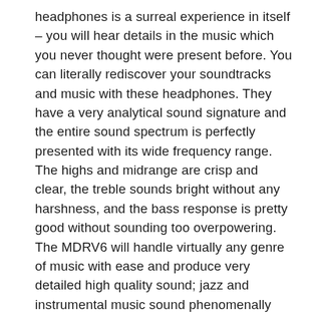headphones is a surreal experience in itself – you will hear details in the music which you never thought were present before. You can literally rediscover your soundtracks and music with these headphones. They have a very analytical sound signature and the entire sound spectrum is perfectly presented with its wide frequency range. The highs and midrange are crisp and clear, the treble sounds bright without any harshness, and the bass response is pretty good without sounding too overpowering. The MDRV6 will handle virtually any genre of music with ease and produce very detailed high quality sound; jazz and instrumental music sound phenomenally clean and wide with these headphones. Do note that because the MDRV6 are highly sensitive headphones, they are really unforgiving on the music source and will expose any flaws in a poor recording. They bring out the best in very good recordings too, so be sure to feed them high quality music files for the best experience.